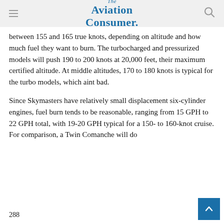The Aviation Consumer
between 155 and 165 true knots, depending on altitude and how much fuel they want to burn. The turbocharged and pressurized models will push 190 to 200 knots at 20,000 feet, their maximum certified altitude. At middle altitudes, 170 to 180 knots is typical for the turbo models, which aint bad.
Since Skymasters have relatively small displacement six-cylinder engines, fuel burn tends to be reasonable, ranging from 15 GPH to 22 GPH total, with 19-20 GPH typical for a 150- to 160-knot cruise. For comparison, a Twin Comanche will do
288